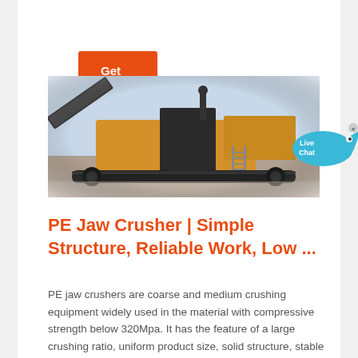Get Quote
[Figure (photo): A large mobile jaw crusher machine photographed outdoors on a work site. The machine is yellow and dark grey/black, with a conveyor belt and industrial crushing components visible.]
PE Jaw Crusher | Simple Structure, Reliable Work, Low ...
PE jaw crushers are coarse and medium crushing equipment widely used in the material with compressive strength below 320Mpa. It has the feature of a large crushing ratio, uniform product size, solid structure, stable work, easy maintenance, low operating costs. Jaw